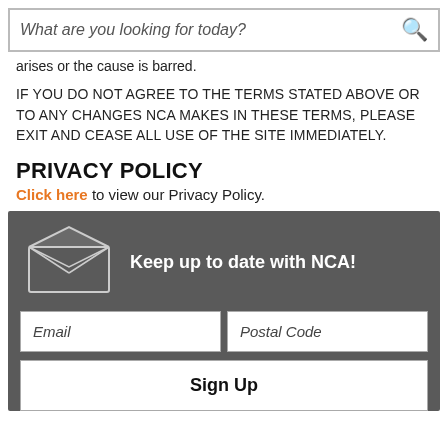What are you looking for today?
arises or the cause is barred.
IF YOU DO NOT AGREE TO THE TERMS STATED ABOVE OR TO ANY CHANGES NCA MAKES IN THESE TERMS, PLEASE EXIT AND CEASE ALL USE OF THE SITE IMMEDIATELY.
PRIVACY POLICY
Click here to view our Privacy Policy.
[Figure (infographic): Newsletter sign-up widget with dark gray background, envelope icon, 'Keep up to date with NCA!' heading, Email and Postal Code fields, and Sign Up button. A vertical orange Feedback tab appears on the right edge.]